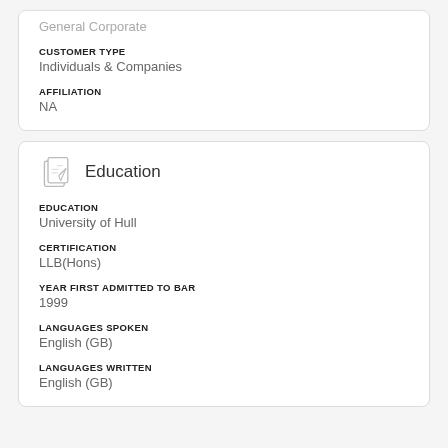General Corporate
CUSTOMER TYPE
Individuals & Companies
AFFILIATION
NA
Education
EDUCATION
University of Hull
CERTIFICATION
LLB(Hons)
YEAR FIRST ADMITTED TO BAR
1999
LANGUAGES SPOKEN
English (GB)
LANGUAGES WRITTEN
English (GB)